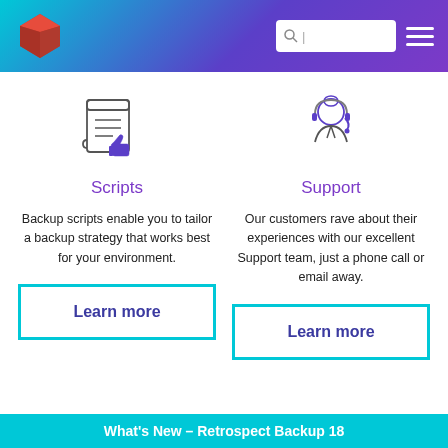[Figure (screenshot): Website header with red cube logo on left, search box and hamburger menu on right, gradient background from teal to purple]
[Figure (illustration): Document with thumbs up icon representing Scripts feature]
Scripts
Backup scripts enable you to tailor a backup strategy that works best for your environment.
Learn more
[Figure (illustration): Customer support agent with headset icon representing Support feature]
Support
Our customers rave about their experiences with our excellent Support team, just a phone call or email away.
Learn more
What's New – Retrospect Backup 18